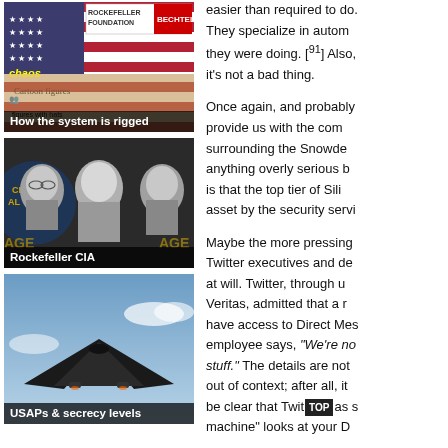[Figure (photo): Thumbnail image with caption 'How the system is rigged' showing political cartoon with figures in party hats and Rockefeller Foundation / Bechtel logos]
[Figure (photo): Black and white photo of three men with CIA badge background, caption reads 'Rockefeller CIA']
[Figure (photo): Photo of a stealth aircraft (SR-71 or similar) flying, caption reads 'USAPs & secrecy levels']
easier than required to do. They specialize in autom they were doing. [91] Also, it's not a bad thing.
Once again, and probably provide us with the com surrounding the Snowde anything overly serious b is that the top tier of Sili asset by the security servi
Maybe the more pressing Twitter executives and de at will. Twitter, through u Veritas, admitted that a r have access to Direct Mes employee says, "We're no stuff." The details are not out of context; after all, it be clear that Twit [TOP] as s machine" looks at your D